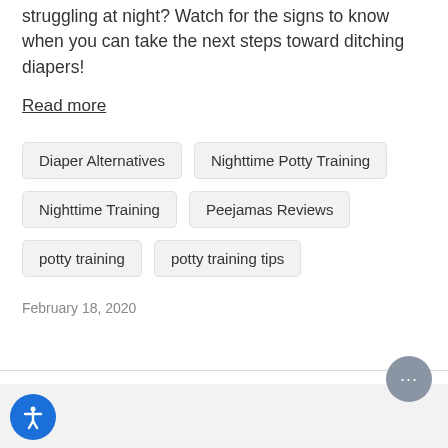struggling at night? Watch for the signs to know when you can take the next steps toward ditching diapers!
Read more
Diaper Alternatives
Nighttime Potty Training
Nighttime Training
Peejamas Reviews
potty training
potty training tips
February 18, 2020